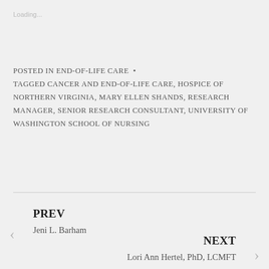Loading...
POSTED IN END-OF-LIFE CARE  •
TAGGED CANCER AND END-OF-LIFE CARE, HOSPICE OF NORTHERN VIRGINIA, MARY ELLEN SHANDS, RESEARCH MANAGER, SENIOR RESEARCH CONSULTANT, UNIVERSITY OF WASHINGTON SCHOOL OF NURSING
PREV
Jeni L. Barham
NEXT
Lori Ann Hertel, PhD, LCMFT